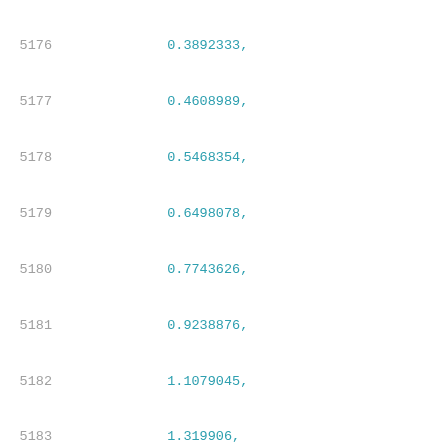5176    0.3892333,
5177    0.4608989,
5178    0.5468354,
5179    0.6498078,
5180    0.7743626,
5181    0.9238876,
5182    1.1079045,
5183    1.319906,
5184    1.5889913
5185    ],
5186    [
5187    0.0343376,
5188    0.1046349,
5189    0.1178979,
5190    0.1339619,
5191    0.1527241,
5192    0.1761306,
5193    0.2044338,
5194    0.2387256,
5195    0.2801778,
5196    0.3296609,
5197    0.3889944,